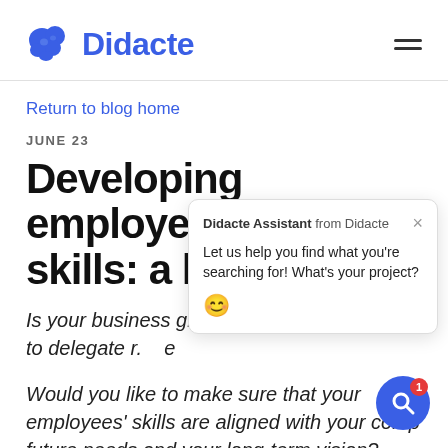[Figure (logo): Didacte logo: brain emoji icon in blue and the word Didacte in bold blue, with hamburger menu icon on the right]
Return to blog home
JUNE 23
Developing employee skills: a h
Is your business gr to delegate r. e
Would you like to make sure that your employees' skills are aligned with your comp future needs and your long-term vision?
[Figure (screenshot): Didacte Assistant chat popup overlay showing header 'Didacte Assistant from Didacte' with close X button, body text 'Let us help you find what you're searching for! What's your project?' and a smiling emoji]
[Figure (other): Blue circular search FAB button with magnifying glass icon and red badge showing '1']